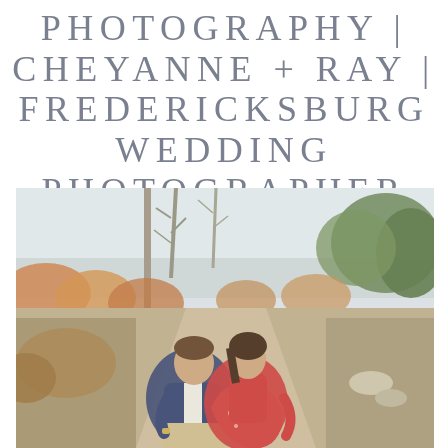PHOTOGRAPHY | CHEYANNE + RAY | FREDERICKSBURG WEDDING PHOTOGRAPHER
[Figure (photo): A couple sitting outdoors on a path in a garden setting. The man wears a navy blazer and khaki pants; the woman wears a red floral dress. They are leaning toward each other intimately. Autumn foliage and trees are visible in the background with warm, bright light.]